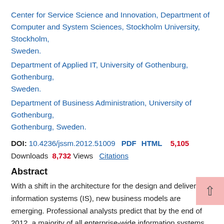Center for Service Science and Innovation, Department of Computer and System Sciences, Stockholm University, Stockholm, Sweden.
Department of Applied IT, University of Gothenburg, Gothenburg, Sweden.
Department of Business Administration, University of Gothenburg, Gothenburg, Sweden.
DOI: 10.4236/jssm.2012.51009  PDF  HTML  5,105 Downloads  8,732 Views  Citations
Abstract
With a shift in the architecture for the design and delivery of information systems (IS), new business models are emerging. Professional analysts predict that by the end of 2012, a majority of all enterprise-wide information systems will be delivered by a business model dominated by services rather than by on-site installations. This paper reports on a research project conducted